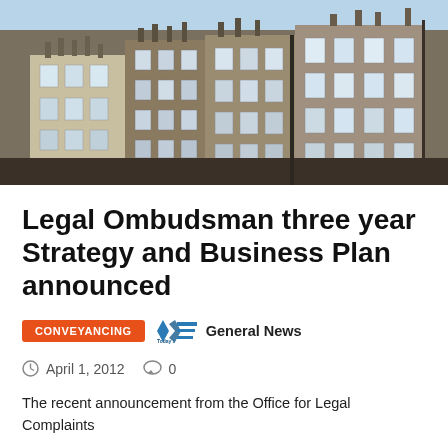[Figure (photo): Row of Victorian brick terraced houses in London, multiple stories with sash windows and chimney pots against a light blue sky.]
Legal Ombudsman three year Strategy and Business Plan announced
CONVEYANCING
Today's Conveyancer   General News
April 1, 2012   0
The recent announcement from the Office for Legal Complaints